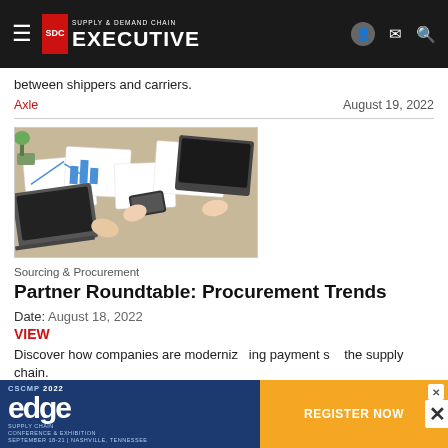Supply & Demand Chain Executive
between shippers and carriers.
Axle    August 19, 2022
[Figure (photo): Overhead view of businesspeople at a table with charts, graphs, laptops, and documents]
Sourcing & Procurement
Partner Roundtable: Procurement Trends
Date: August 18, 2022
VIEW
Discover how companies are modernizing payment s... the supply chain.
[Figure (infographic): CSCMP 2022 Edge Supply Chain Conference & Exhibition advertisement banner with Register Now button]